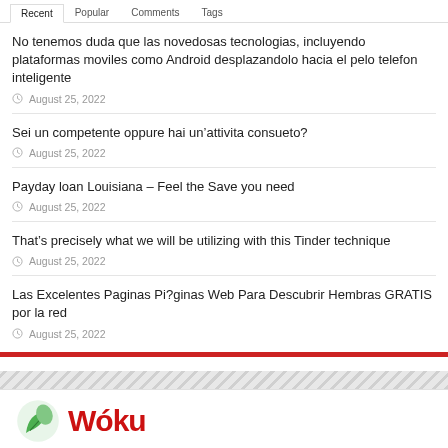Recent | Popular | Comments | Tags
No tenemos duda que las novedosas tecnologias, incluyendo plataformas moviles como Android desplazandolo hacia el pelo telefon inteligente
August 25, 2022
Sei un competente oppure hai un’attivita consueto?
August 25, 2022
Payday loan Louisiana – Feel the Save you need
August 25, 2022
That’s precisely what we will be utilizing with this Tinder technique
August 25, 2022
Las Excelentes Paginas Pi?ginas Web Para Descubrir Hembras GRATIS por la red
August 25, 2022
[Figure (logo): Woku logo with green leaf icon and red bold text]